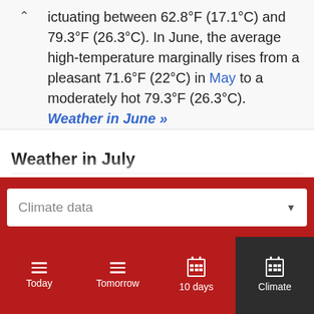ictuating between 62.8°F (17.1°C) and 79.3°F (26.3°C). In June, the average high-temperature marginally rises from a pleasant 71.6°F (22°C) in May to a moderately hot 79.3°F (26.3°C). Weather in June »
Weather in July
July, the same as June, is a moderately hot summer
Climate data
Today  Tomorrow  10 days  Climate